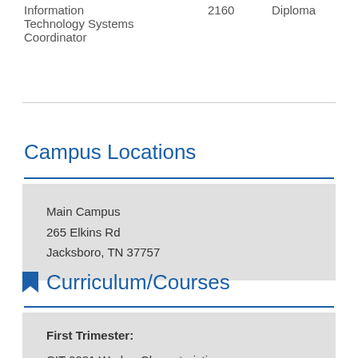|  |  |  |
| --- | --- | --- |
| Information
Technology Systems
Coordinator | 2160 | Diploma |
Campus Locations
Main Campus
265 Elkins Rd
Jacksboro, TN 37757
Curriculum/Courses
First Trimester:
CIT 0001 Worker Characteristic
CIT 1070 Technology Foundations